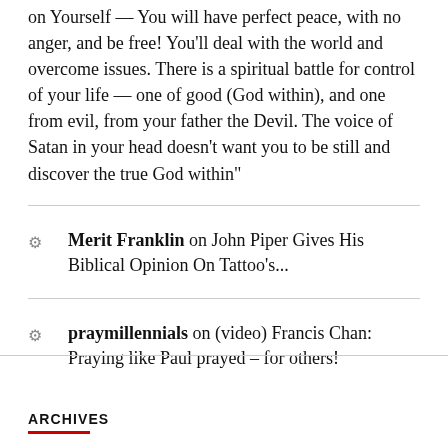on Yourself — You will have perfect peace, with no anger, and be free! You'll deal with the world and overcome issues. There is a spiritual battle for control of your life — one of good (God within), and one from evil, from your father the Devil. The voice of Satan in your head doesn't want you to be still and discover the true God within"
Merit Franklin on John Piper Gives His Biblical Opinion On Tattoo's...
praymillennials on (video) Francis Chan: Praying like Paul prayed – for others!
ARCHIVES